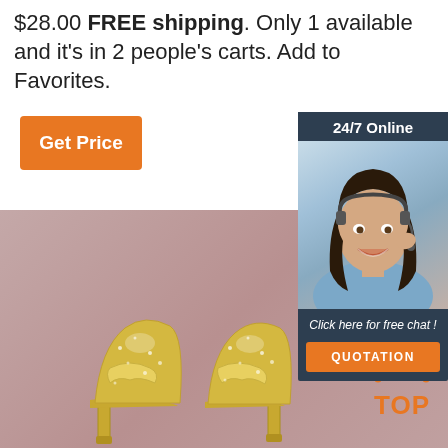$28.00 FREE shipping. Only 1 available and it's in 2 people's carts. Add to Favorites.
[Figure (other): Orange 'Get Price' button]
[Figure (other): 24/7 Online chat widget with customer service agent photo, 'Click here for free chat!' text and orange QUOTATION button]
[Figure (photo): Pink/mauve background with gold glittery high heel shoes at bottom, and TOP logo in bottom right]
[Figure (logo): TOP logo with orange dots arc above letters]